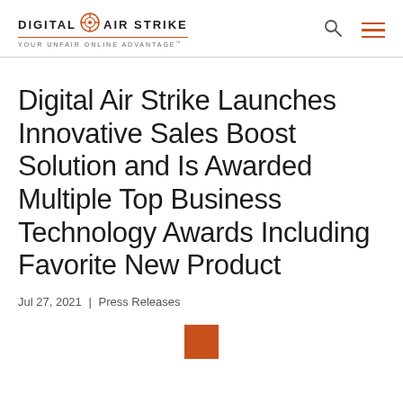DIGITAL AIR STRIKE — YOUR UNFAIR ONLINE ADVANTAGE™
Digital Air Strike Launches Innovative Sales Boost Solution and Is Awarded Multiple Top Business Technology Awards Including Favorite New Product
Jul 27, 2021 | Press Releases